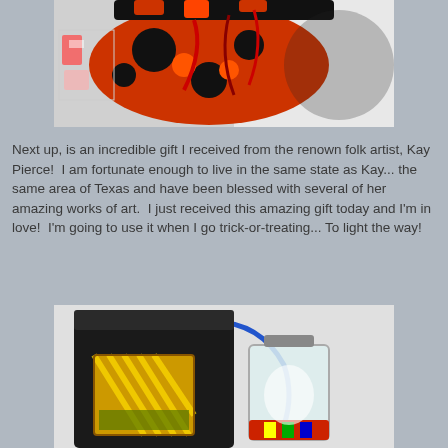[Figure (photo): Close-up photo of a Halloween-themed decorative item with orange and black fabric, polka dots, ribbons, and netting, with candy visible.]
Next up, is an incredible gift I received from the renown folk artist, Kay Pierce!  I am fortunate enough to live in the same state as Kay... the same area of Texas and have been blessed with several of her amazing works of art.  I just received this amazing gift today and I'm in love!  I'm going to use it when I go trick-or-treating... To light the way!
[Figure (photo): Photo of a Halloween gift set including a painted yellow striped box/lantern, a glass lantern with handle, and a black bag.]